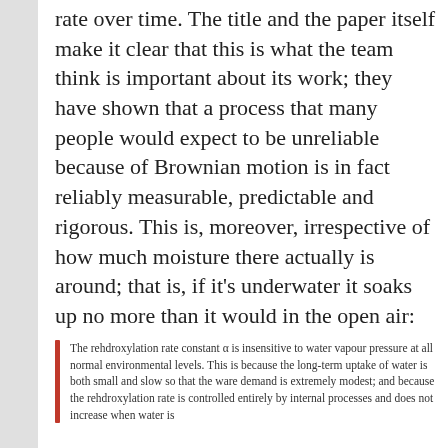rate over time. The title and the paper itself make it clear that this is what the team think is important about its work; they have shown that a process that many people would expect to be unreliable because of Brownian motion is in fact reliably measurable, predictable and rigorous. This is, moreover, irrespective of how much moisture there actually is around; that is, if it's underwater it soaks up no more than it would in the open air:
The rehdroxylation rate constant α is insensitive to water vapour pressure at all normal environmental levels. This is because the long-term uptake of water is both small and slow so that the ware demand is extremely modest; and because the rehdroxylation rate is controlled entirely by internal processes and does not increase when water is